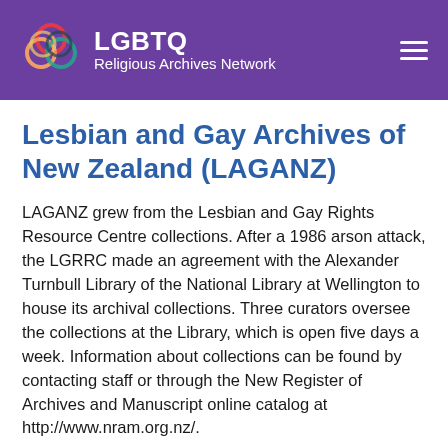LGBTQ Religious Archives Network
Lesbian and Gay Archives of New Zealand (LAGANZ)
LAGANZ grew from the Lesbian and Gay Rights Resource Centre collections. After a 1986 arson attack, the LGRRC made an agreement with the Alexander Turnbull Library of the National Library at Wellington to house its archival collections. Three curators oversee the collections at the Library, which is open five days a week. Information about collections can be found by contacting staff or through the New Register of Archives and Manuscript online catalog at http://www.nram.org.nz/.